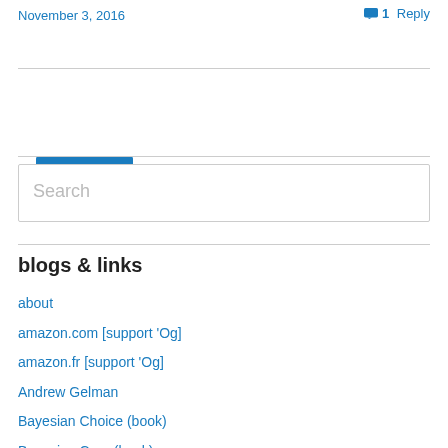November 3, 2016
1 Reply
[Figure (other): WordPress Follow button with icon and text 'Follow Xi’an’s Og']
Search
blogs & links
about
amazon.com [support 'Og]
amazon.fr [support 'Og]
Andrew Gelman
Bayesian Choice (book)
Bayesian Core (book)
Bayesian Essentials with R (book)